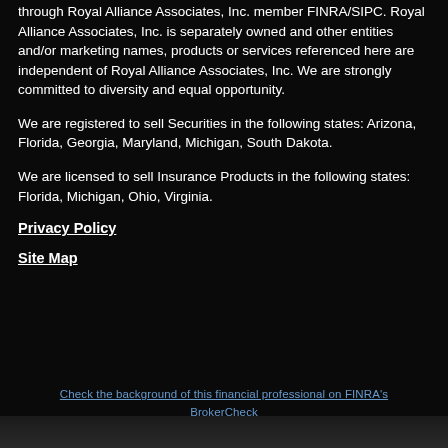through Royal Alliance Associates, Inc. member FINRA/SIPC. Royal Alliance Associates, Inc. is separately owned and other entities and/or marketing names, products or services referenced here are independent of Royal Alliance Associates, Inc. We are strongly committed to diversity and equal opportunity.
We are registered to sell Securities in the following states: Arizona, Florida, Georgia, Maryland, Michigan, South Dakota.
We are licensed to sell Insurance Products in the following states: Florida, Michigan, Ohio, Virginia.
Privacy Policy
Site Map
Check the background of this financial professional on FINRA's BrokerCheck